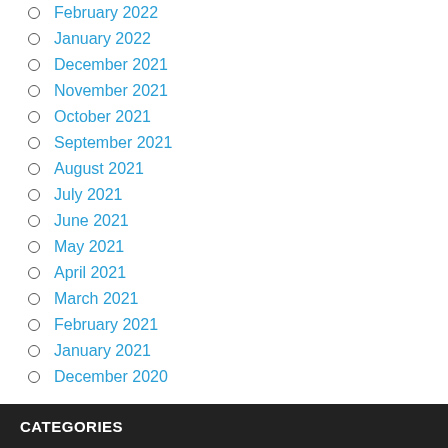February 2022
January 2022
December 2021
November 2021
October 2021
September 2021
August 2021
July 2021
June 2021
May 2021
April 2021
March 2021
February 2021
January 2021
December 2020
CATEGORIES